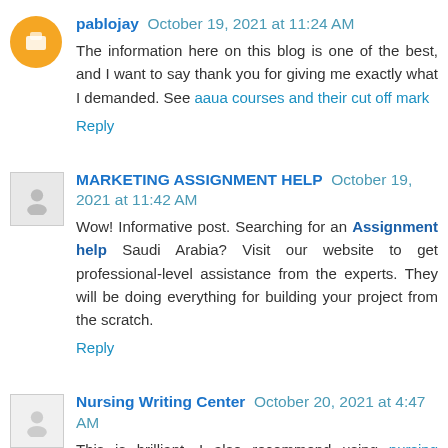pablojay October 19, 2021 at 11:24 AM
The information here on this blog is one of the best, and I want to say thank you for giving me exactly what I demanded. See aaua courses and their cut off mark
Reply
MARKETING ASSIGNMENT HELP October 19, 2021 at 11:42 AM
Wow! Informative post. Searching for an Assignment help Saudi Arabia? Visit our website to get professional-level assistance from the experts. They will be doing everything for building your project from the scratch.
Reply
Nursing Writing Center October 20, 2021 at 4:47 AM
This is brilliant, I also recommend using nursing writing services for research. More also, I recommend also nursing